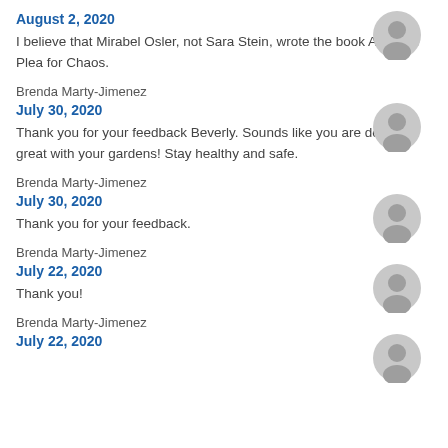August 2, 2020
I believe that Mirabel Osler, not Sara Stein, wrote the book A Gentle Plea for Chaos.
Brenda Marty-Jimenez
July 30, 2020
Thank you for your feedback Beverly. Sounds like you are doing great with your gardens! Stay healthy and safe.
Brenda Marty-Jimenez
July 30, 2020
Thank you for your feedback.
Brenda Marty-Jimenez
July 22, 2020
Thank you!
Brenda Marty-Jimenez
July 22, 2020